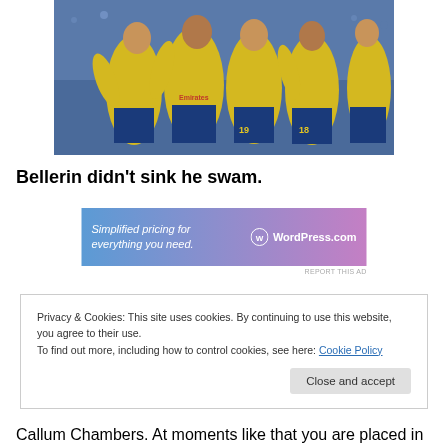[Figure (photo): Arsenal football players in yellow and blue kits celebrating together on the pitch]
Bellerin didn't sink he swam.
[Figure (other): WordPress.com advertisement: 'Simplified pricing for everything you need.']
Privacy & Cookies: This site uses cookies. By continuing to use this website, you agree to their use.
To find out more, including how to control cookies, see here: Cookie Policy
Callum Chambers. At moments like that you are placed in